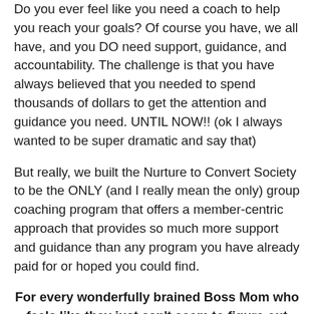Do you ever feel like you need a coach to help you reach your goals? Of course you have, we all have, and you DO need support, guidance, and accountability. The challenge is that you have always believed that you needed to spend thousands of dollars to get the attention and guidance you need. UNTIL NOW!! (ok I always wanted to be super dramatic and say that)
But really, we built the Nurture to Convert Society to be the ONLY (and I really mean the only) group coaching program that offers a member-centric approach that provides so much more support and guidance than any program you have already paid for or hoped you could find.
For every wonderfully brained Boss Mom who feels like they just can't seem to figure out how to get their business to grow.